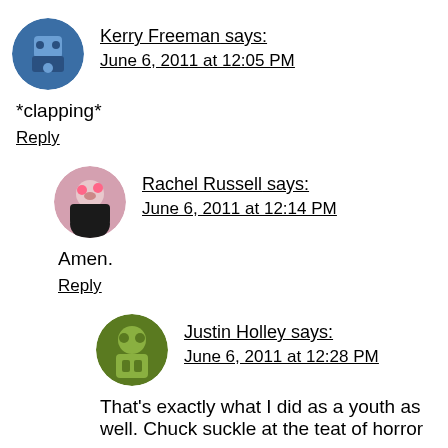Kerry Freeman says: June 6, 2011 at 12:05 PM
*clapping*
Reply
Rachel Russell says: June 6, 2011 at 12:14 PM
Amen.
Reply
Justin Holley says: June 6, 2011 at 12:28 PM
That's exactly what I did as a youth as well. Chuck suckle at the teat of horror